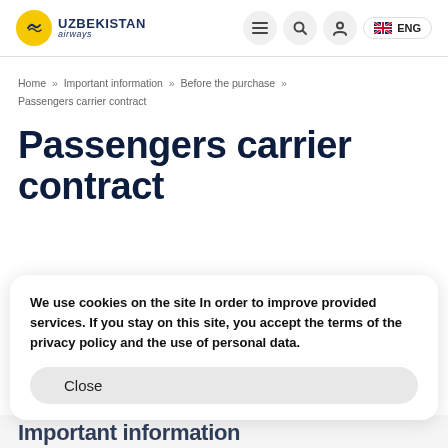Uzbekistan airways — navigation header with logo, menu, search, user, and ENG language selector
Home » Important information » Before the purchase » Passengers carrier contract
Passengers carrier contract
We use cookies on the site In order to improve provided services. If you stay on this site, you accept the terms of the privacy policy and the use of personal data.
Close
Important information